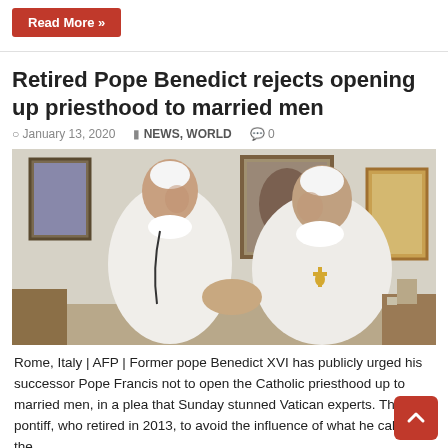Read More »
Retired Pope Benedict rejects opening up priesthood to married men
January 13, 2020   NEWS, WORLD   0
[Figure (photo): Two men dressed in white papal robes shaking hands in an indoor setting with framed artwork on the walls behind them.]
Rome, Italy | AFP | Former pope Benedict XVI has publicly urged his successor Pope Francis not to open the Catholic priesthood up to married men, in a plea that Sunday stunned Vatican experts. The ex-pontiff, who retired in 2013, to avoid the influence of what he called the ...